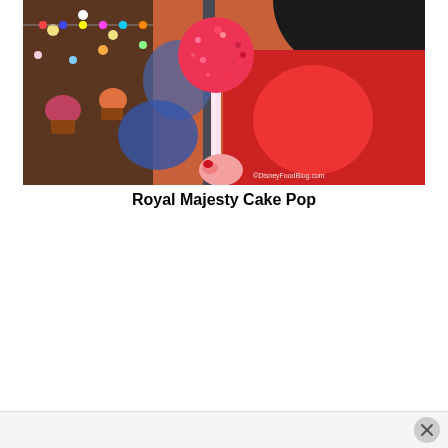[Figure (photo): Close-up photo of a pink/red sparkly cake pop on a stick, held by a hand with red nail polish, in front of a colorful theme park backdrop with Mickey Mouse imagery. Watermark reads ©DisneyFoodBlog.com.]
Royal Majesty Cake Pop